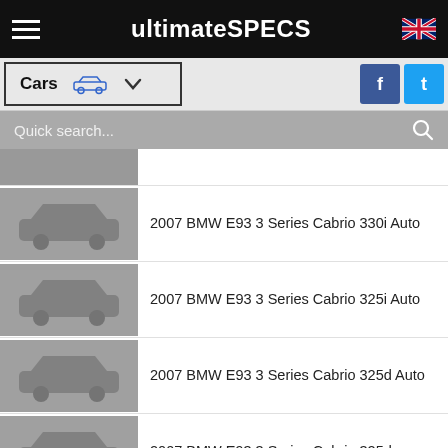ultimateSPECS
Cars
Quick search...
2007 BMW E93 3 Series Cabrio 330i Auto
2007 BMW E93 3 Series Cabrio 325i Auto
2007 BMW E93 3 Series Cabrio 325d Auto
2007 BMW E93 3 Series Cabrio 325d
2007 BMW E93 3 Series Cabrio 320i Auto
2007 BMW E90 3 Series 325d